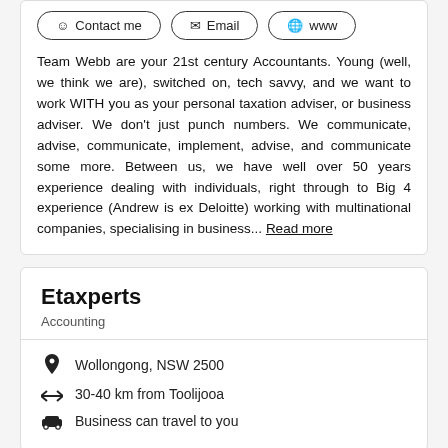Contact me
Email
www
Team Webb are your 21st century Accountants. Young (well, we think we are), switched on, tech savvy, and we want to work WITH you as your personal taxation adviser, or business adviser. We don't just punch numbers. We communicate, advise, communicate, implement, advise, and communicate some more. Between us, we have well over 50 years experience dealing with individuals, right through to Big 4 experience (Andrew is ex Deloitte) working with multinational companies, specialising in business... Read more
Etaxperts
Accounting
Wollongong, NSW 2500
30-40 km from Toolijooa
Business can travel to you